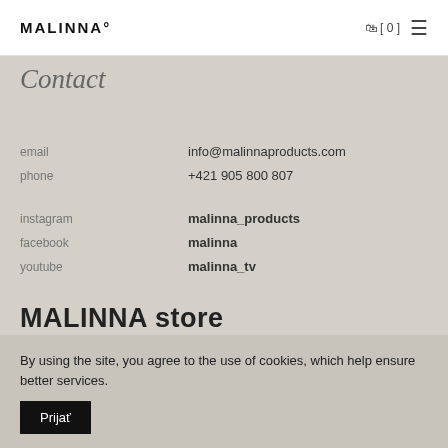MALINNA° [ 0 ]
Contact
email   info@malinnaproducts.com
phone   +421 905 800 807
instagram   malinna_products
facebook   malinna
youtube   malinna_tv
MALINNA store
By using the site, you agree to the use of cookies, which help ensure better services.